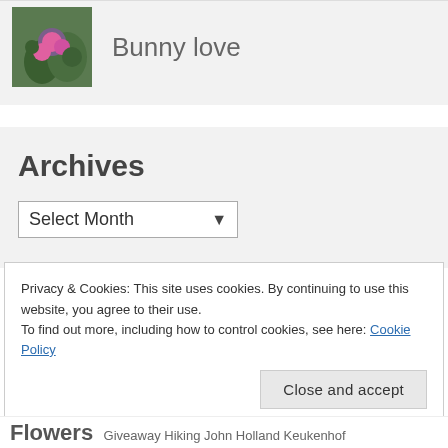[Figure (photo): Small thumbnail image of pink flowers with dark foliage background]
Bunny love
Archives
Select Month
Privacy & Cookies: This site uses cookies. By continuing to use this website, you agree to their use.
To find out more, including how to control cookies, see here: Cookie Policy
Close and accept
Flowers  Giveaway  Hiking  John Holland  Keukenhof